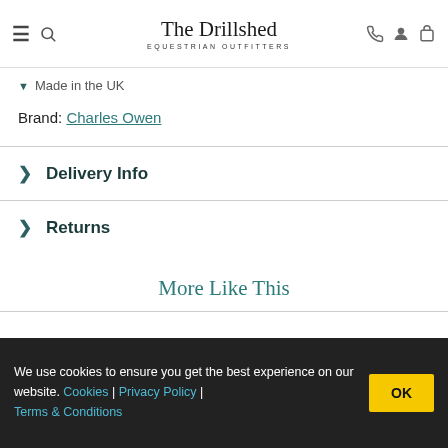The Drillshed EQUESTRIAN OUTFITTERS
Made in the UK
Brand: Charles Owen
Delivery Info
Returns
More Like This
We use cookies to ensure you get the best experience on our website. Cookies | Privacy Policy | Terms & Conditions